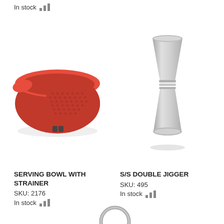In stock
[Figure (photo): Red serving bowl with strainer/colander, bowl-shaped with perforated bottom section and pour spout]
[Figure (photo): Stainless steel double jigger, hourglass shaped with two measuring cups]
SERVING BOWL WITH STRAINER
SKU: 2176
In stock
S/S DOUBLE JIGGER
SKU: 495
In stock
[Figure (photo): Partial view of a metal ring or circular object at bottom of page]